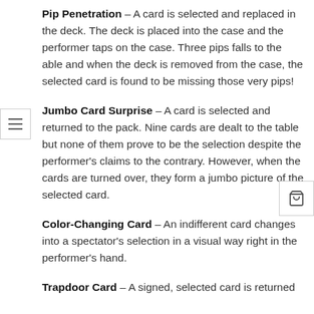Pip Penetration – A card is selected and replaced in the deck. The deck is placed into the case and the performer taps on the case. Three pips falls to the able and when the deck is removed from the case, the selected card is found to be missing those very pips!
Jumbo Card Surprise – A card is selected and returned to the pack. Nine cards are dealt to the table but none of them prove to be the selection despite the performer's claims to the contrary. However, when the cards are turned over, they form a jumbo picture of the selected card.
Color-Changing Card – An indifferent card changes into a spectator's selection in a visual way right in the performer's hand.
Trapdoor Card – A signed, selected card is returned